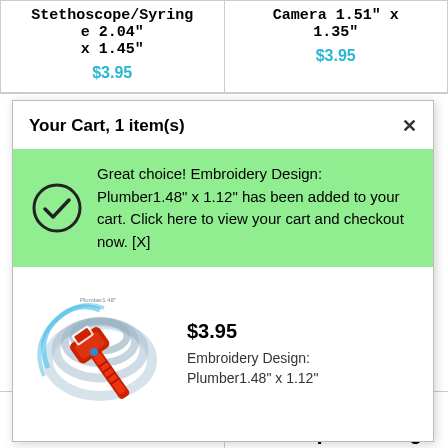Stethoscope/Syringe 2.04" x 1.45"
$3.95
Camera 1.51" x 1.35"
$3.95
Your Cart, 1 item(s)
Great choice! Embroidery Design: Plumber 1.48" x 1.12" has been added to your cart. Click here to view your cart and checkout now. [X]
[Figure (illustration): Embroidery design of a plumber pipe wrench with coiled metal pipe, red wrench in foreground]
$3.95
Embroidery Design: Plumber 1.48" x 1.12"
Embroidery
Design: Transport Rig